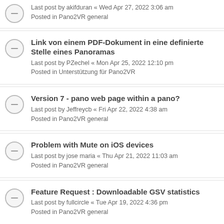Last post by akifduran « Wed Apr 27, 2022 3:06 am
Posted in Pano2VR general
Link von einem PDF-Dokument in eine definierte Stelle eines Panoramas
Last post by PZechel « Mon Apr 25, 2022 12:10 pm
Posted in Unterstützung für Pano2VR
Version 7 - pano web page within a pano?
Last post by Jeffreycb « Fri Apr 22, 2022 4:38 am
Posted in Pano2VR general
Problem with Mute on iOS devices
Last post by jose maria « Thu Apr 21, 2022 11:03 am
Posted in Pano2VR general
Feature Request : Downloadable GSV statistics
Last post by fullcircle « Tue Apr 19, 2022 4:36 pm
Posted in Pano2VR general